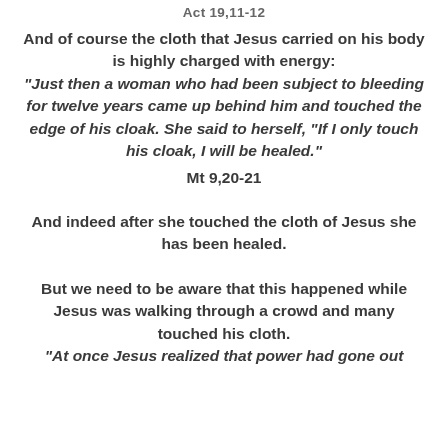Act 19,11-12
And of course the cloth that Jesus carried on his body is highly charged with energy:
“Just then a woman who had been subject to bleeding for twelve years came up behind him and touched the edge of his cloak. She said to herself, “If I only touch his cloak, I will be healed.”
Mt 9,20-21
And indeed after she touched the cloth of Jesus she has been healed.
But we need to be aware that this happened while Jesus was walking through a crowd and many touched his cloth.
“At once Jesus realized that power had gone out